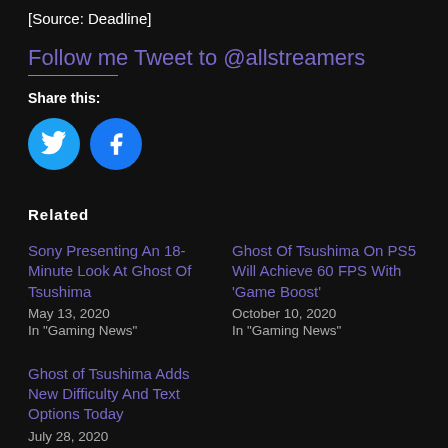[Source: Deadline]
Follow me  Tweet to @allstreamers
Share this:
[Figure (illustration): Two social media icon buttons: Twitter (cyan circle with bird icon) and Facebook (blue circle with f icon)]
Related
Sony Presenting An 18-Minute Look At Ghost Of Tsushima
May 13, 2020
In "Gaming News"
Ghost Of Tsushima On PS5 Will Achieve 60 FPS With 'Game Boost'
October 10, 2020
In "Gaming News"
Ghost of Tsushima Adds New Difficulty And Text Options Today
July 28, 2020
In "Gaming News"